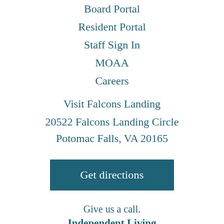Board Portal
Resident Portal
Staff Sign In
MOAA
Careers
Visit Falcons Landing
20522 Falcons Landing Circle
Potomac Falls, VA 20165
Get directions
Give us a call.
Independent Living
Sales & Marketing - 703.404.5151
Nursing & Assisted Living
Admissions - 703.404.5205